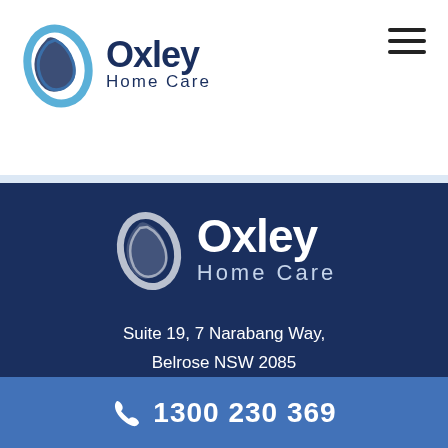[Figure (logo): Oxley Home Care logo in header — dark navy oval with swirl and 'Oxley Home Care' text]
[Figure (logo): Oxley Home Care logo centered on dark navy background — white oval swirl with 'Oxley Home Care' text in white]
Suite 19, 7 Narabang Way, Belrose NSW 2085
Part of the
1300 230 369